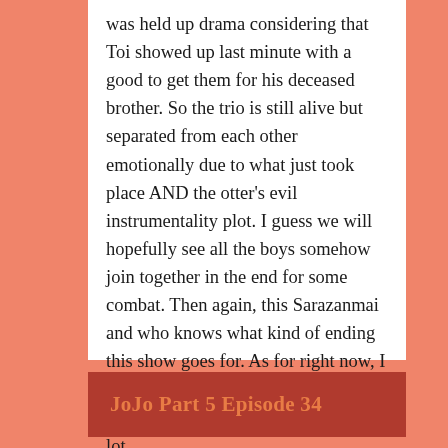was held up drama considering that Toi showed up last minute with a good to get them for his deceased brother. So the trio is still alive but separated from each other emotionally due to what just took place AND the otter's evil instrumentality plot. I guess we will hopefully see all the boys somehow join together in the end for some combat. Then again, this Sarazanmai and who knows what kind of ending this show goes for. As for right now, I think this is better then Yuri Kuma Arashi for me and I liked that one a lot.
JoJo Part 5 Episode 34